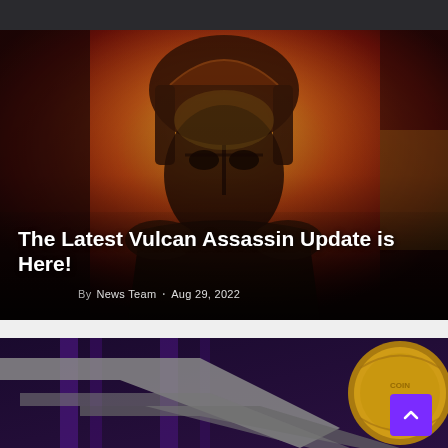[Figure (photo): A warrior/assassin figure in ornate golden Roman-style armor and helmet, set against a fiery orange and red background. The figure looks directly at the viewer with an intense expression.]
The Latest Vulcan Assassin Update is Here!
By News Team · Aug 29, 2022
[Figure (photo): Bottom section showing a purple/dark background with what appears to be a geometric chevron/arrow shape in gray and a gold coin (cryptocurrency) partially visible on the right side. A purple back-to-top button with an upward chevron arrow is shown in the bottom right corner.]